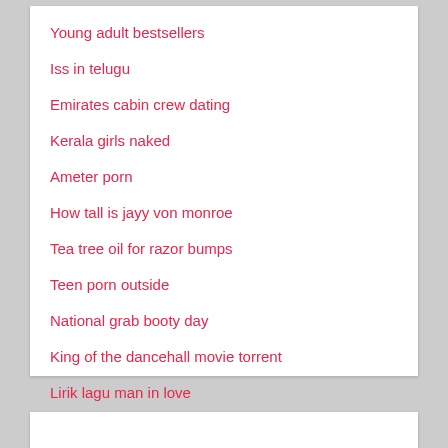Young adult bestsellers
Iss in telugu
Emirates cabin crew dating
Kerala girls naked
Ameter porn
How tall is jayy von monroe
Tea tree oil for razor bumps
Teen porn outside
National grab booty day
King of the dancehall movie torrent
Lirik lagu man in love